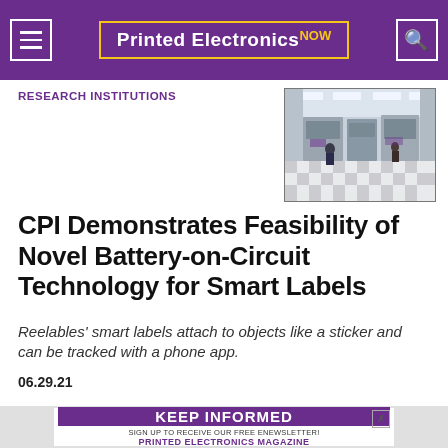Printed Electronics NOW
RESEARCH INSTITUTIONS
[Figure (photo): Interior of a cleanroom or electronics manufacturing facility with workers and equipment on a checkered floor]
CPI Demonstrates Feasibility of Novel Battery-on-Circuit Technology for Smart Labels
Reelables’ smart labels attach to objects like a sticker and can be tracked with a phone app.
06.29.21
[Figure (infographic): Advertisement: KEEP INFORMED - SIGN UP TO RECEIVE OUR FREE ENEWSLETTER! PRINTED ELECTRONICS MAGAZINE]